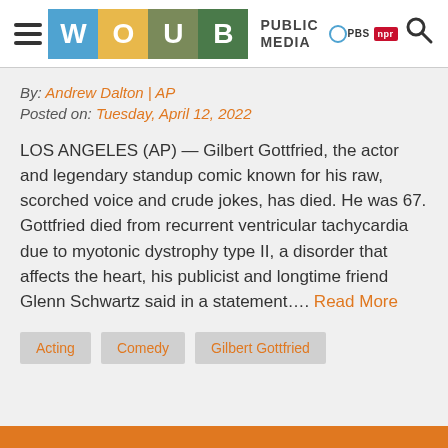[Figure (logo): WOUB Public Media logo with PBS and NPR badges, hamburger menu icon on left, search icon on right]
By: Andrew Dalton | AP
Posted on: Tuesday, April 12, 2022
LOS ANGELES (AP) — Gilbert Gottfried, the actor and legendary standup comic known for his raw, scorched voice and crude jokes, has died. He was 67. Gottfried died from recurrent ventricular tachycardia due to myotonic dystrophy type II, a disorder that affects the heart, his publicist and longtime friend Glenn Schwartz said in a statement…. Read More
Acting
Comedy
Gilbert Gottfried